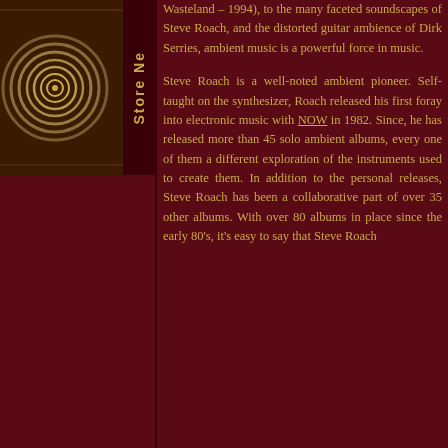[Figure (illustration): Sidebar with spiral/concentric circles image and vertical 'Store Ne' text label on dark background]
Wasteland – 1994), to the many faceted soundscapes of Steve Roach, and the distorted guitar ambience of Dirk Serries, ambient music is a powerful force in music.

Steve Roach is a well-noted ambient pioneer. Self-taught on the synthesizer, Roach released his first foray into electronic music with NOW in 1982. Since, he has released more than 45 solo ambient albums, every one of them a different exploration of the instruments used to create them. In addition to the personal releases, Steve Roach has been a collaborative part of over 35 other albums. With over 80 albums in place since the early 80's, it's easy to say that Steve Roach